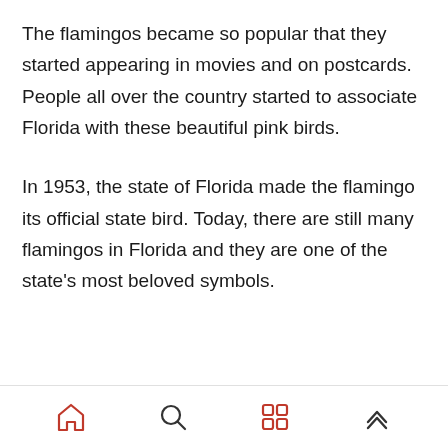The flamingos became so popular that they started appearing in movies and on postcards. People all over the country started to associate Florida with these beautiful pink birds.
In 1953, the state of Florida made the flamingo its official state bird. Today, there are still many flamingos in Florida and they are one of the state's most beloved symbols.
Navigation bar with home, search, grid, and up icons